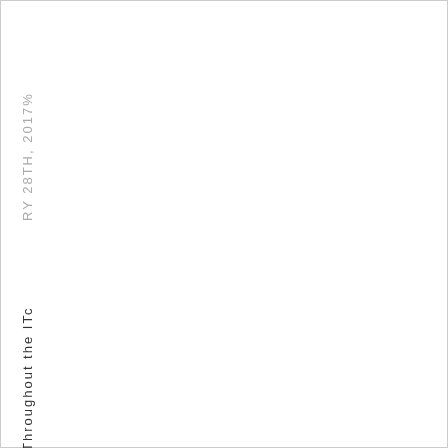RY 28TH, 2017%
Throughout the ITC